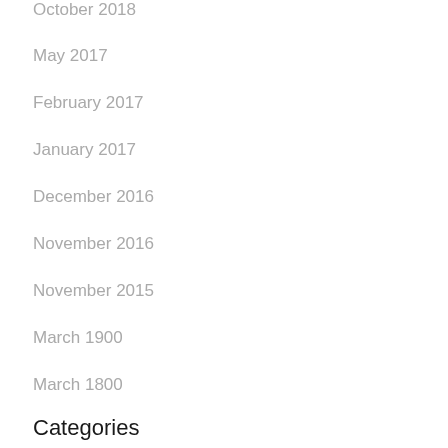October 2018
May 2017
February 2017
January 2017
December 2016
November 2016
November 2015
March 1900
March 1800
Categories